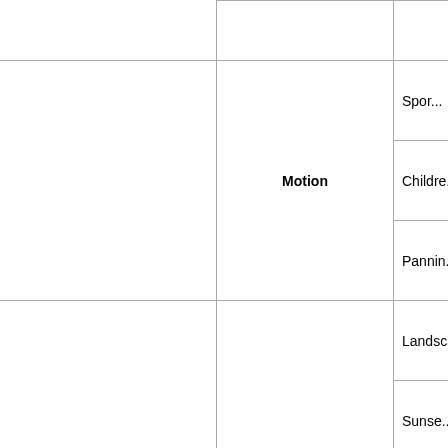|  |  |  |
|  | Motion | Spor... |
|  |  | Childre... |
|  |  | Pannin... |
|  |  | Landsca... |
|  |  | Sunse... |
|  |  | Beach
Snow... |